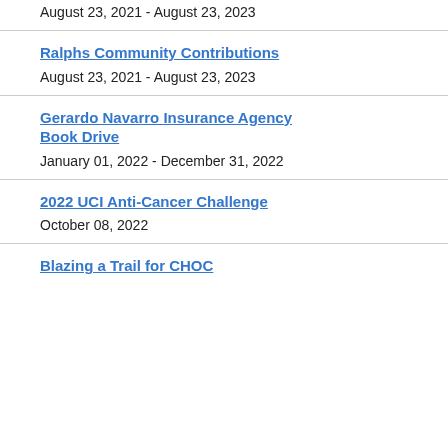August 23, 2021 - August 23, 2023
Ralphs Community Contributions
August 23, 2021 - August 23, 2023
Gerardo Navarro Insurance Agency Book Drive
January 01, 2022 - December 31, 2022
2022 UCI Anti-Cancer Challenge
October 08, 2022
Blazing a Trail for CHOC